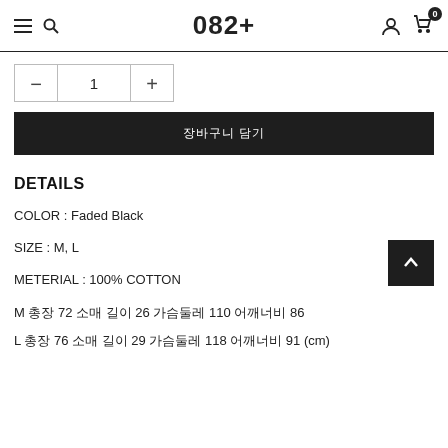082+
1 (quantity selector with minus and plus)
장바구니 담기 (Add to Cart button)
DETAILS
COLOR : Faded Black
SIZE : M, L
METERIAL : 100% COTTON
M 총장 72 소매 길이 26 가슴둘레 110 어깨너비 86
L 총장 76 소매 길이 29 가슴둘레 118 어깨너비 91 (cm)